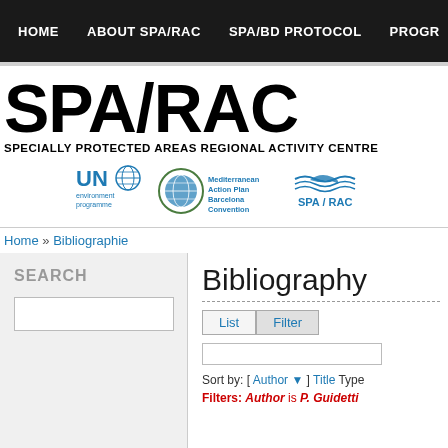HOME | ABOUT SPA/RAC | SPA/BD PROTOCOL | PROGR...
SPA/RAC
SPECIALLY PROTECTED AREAS REGIONAL ACTIVITY CENTRE
[Figure (logo): UN environment programme, Mediterranean Action Plan Barcelona Convention, SPA/RAC logos]
Home » Bibliographie
SEARCH
Bibliography
List | Filter
Sort by: [ Author ▾ ] Title Type
Filters: Author is P. Guidetti